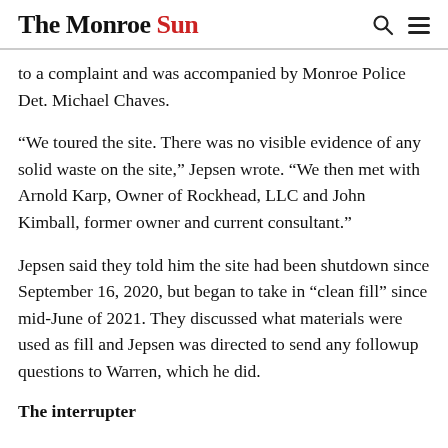The Monroe Sun
to a complaint and was accompanied by Monroe Police Det. Michael Chaves.
“We toured the site. There was no visible evidence of any solid waste on the site,” Jepsen wrote. “We then met with Arnold Karp, Owner of Rockhead, LLC and John Kimball, former owner and current consultant.”
Jepsen said they told him the site had been shutdown since September 16, 2020, but began to take in “clean fill” since mid-June of 2021. They discussed what materials were used as fill and Jepsen was directed to send any followup questions to Warren, which he did.
The interrupter